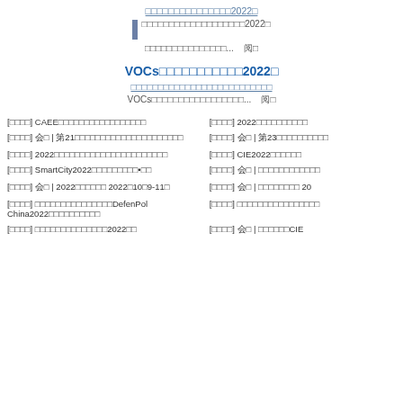（链接/标题文字）2022年
（标题内容）2022年
（内容摘要）...   阅读
VOCs（挥发性有机物）治理2022年
（副标题/描述内容行）
VOCs（挥发性有机物）相关内容...   阅读
[展会活动] CAEE（中国国际环保展览会相关）
[展会活动] 2022年（相关活动）
[展会活动] 会议 | 第21届（相关会议活动内容）
[展会活动] 会议 | 第23届（相关）
[展会活动] 2022年（相关展会活动详情）
[展会活动] CIE2022（相关）
[展会活动] SmartCity2022（智慧城市展）•上海
[展会活动] 会议 | （相关内容）
[展会活动] 会议 | 2022年（展会） 2022年10月9-11日
[展会活动] 会议 | （展会内容） 20
[展会活动] （相关内容）DefenPol China2022（展览会）
[展会活动] （相关活动内容）
[展会活动] （相关展会内容）2022年（活动）
[展会活动] 会议 | （相关内容）CIE